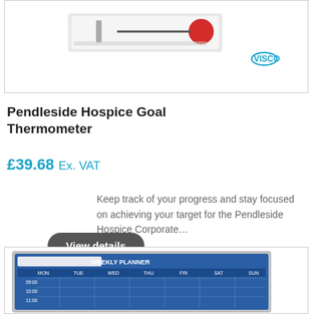[Figure (photo): Product image with VISCO logo in top right corner]
Pendleside Hospice Goal Thermometer
£39.68 Ex. VAT
Keep track of your progress and stay focused on achieving your target for the Pendleside Hospice Corporate…
View details
[Figure (photo): Weekly planner whiteboard product image]